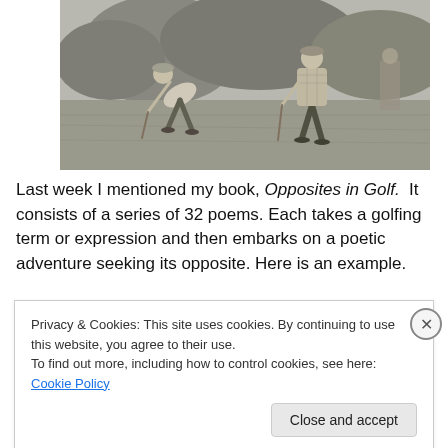[Figure (photo): Black and white vintage photograph of two golfers playing on a course, both bent over their clubs amid tall grass and bushes in the background.]
Last week I mentioned my book, Opposites in Golf. It consists of a series of 32 poems. Each takes a golfing term or expression and then embarks on a poetic adventure seeking its opposite. Here is an example.
Privacy & Cookies: This site uses cookies. By continuing to use this website, you agree to their use.
To find out more, including how to control cookies, see here: Cookie Policy